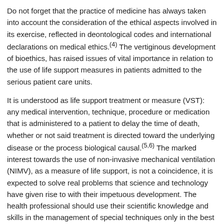Do not forget that the practice of medicine has always taken into account the consideration of the ethical aspects involved in its exercise, reflected in deontological codes and international declarations on medical ethics.(4) The vertiginous development of bioethics, has raised issues of vital importance in relation to the use of life support measures in patients admitted to the serious patient care units.
It is understood as life support treatment or measure (VST): any medical intervention, technique, procedure or medication that is administered to a patient to delay the time of death, whether or not said treatment is directed toward the underlying disease or the process biological causal.(5,6) The marked interest towards the use of non-invasive mechanical ventilation (NIMV), as a measure of life support, is not a coincidence, it is expected to solve real problems that science and technology have given rise to with their impetuous development. The health professional should use their scientific knowledge and skills in the management of special techniques only in the best interest of the patient.
It is precisely NIMV one of the most important and controversial issues worldwide, because there are issues of first order at stake such as the patient's life, family dilemma and decision making by the health team about the use or not of this measure of support for life, is therefore one of the issues in constant ascent and forced to bear in mind in the intensive care